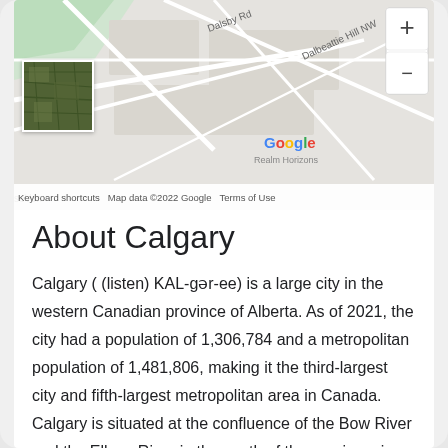[Figure (map): Google Maps screenshot showing street map with roads including Dalsby Rd and Dalbeattie Hill NW, with zoom controls (+/-), Google branding, Realm Horizons label, Keyboard shortcuts, Map data ©2022 Google, Terms of Use. A satellite thumbnail image is shown in the bottom-left corner of the map.]
About Calgary
Calgary ( (listen) KAL-gər-ee) is a large city in the western Canadian province of Alberta. As of 2021, the city had a population of 1,306,784 and a metropolitan population of 1,481,806, making it the third-largest city and fifth-largest metropolitan area in Canada. Calgary is situated at the confluence of the Bow River and the Elbow River in the south of the province, in the transitional area between the Rocky Mountain Foothills and the